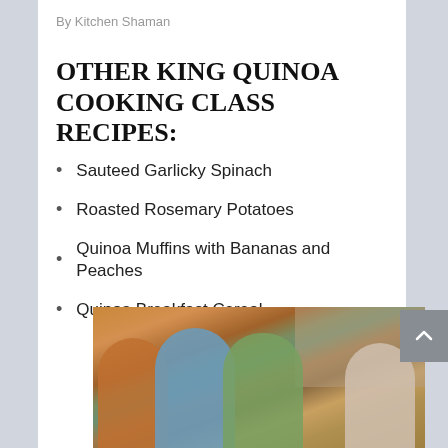By Kitchen Shaman
OTHER KING QUINOA COOKING CLASS RECIPES:
Sauteed Garlicky Spinach
Roasted Rosemary Potatoes
Quinoa Muffins with Bananas and Peaches
Quinoa Breakfast Cereal
[Figure (photo): Photo of people gathered around a table in a store or market, looking at something together, with store shelves visible in the background.]